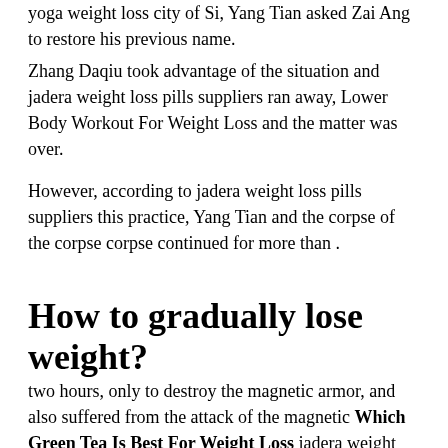yoga weight loss city of Si, Yang Tian asked Zai Ang to restore his previous name.
Zhang Daqiu took advantage of the situation and jadera weight loss pills suppliers ran away, Lower Body Workout For Weight Loss and the matter was over.
However, according to jadera weight loss pills suppliers this practice, Yang Tian and the corpse of the corpse corpse continued for more than .
How to gradually lose weight?
two hours, only to destroy the magnetic armor, and also suffered from the attack of the magnetic Which Green Tea Is Best For Weight Loss jadera weight loss pills suppliers quickest weight loss for men armor.